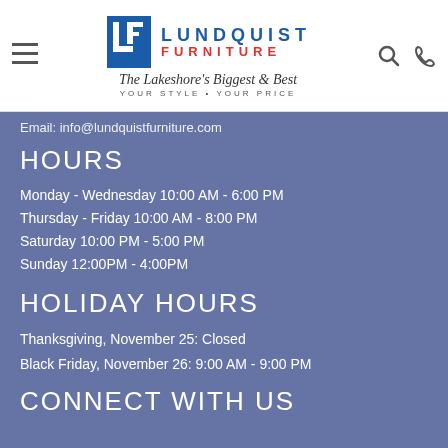Lundquist Furniture — The Lakeshore's Biggest & Best — YOUR STYLE • YOUR PRICE
Email: info@lundquistfurniture.com
HOURS
Monday - Wednesday 10:00 AM - 6:00 PM
Thursday - Friday 10:00 AM - 8:00 PM
Saturday 10:00 PM - 5:00 PM
Sunday 12:00PM - 4:00PM
HOLIDAY HOURS
Thanksgiving, November 25: Closed
Black Friday, November 26: 9:00 AM - 9:00 PM
CONNECT WITH US